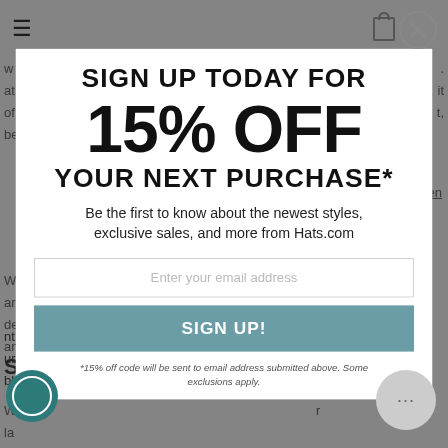[Figure (screenshot): Website popup modal for Hats.com email sign-up promotion offering 15% off next purchase. Contains headline, discount, description, email input field, sign up button, and footnote text. Background shows partially visible webpage content.]
SIGN UP TODAY FOR
15% OFF
YOUR NEXT PURCHASE*
Be the first to know about the newest styles, exclusive sales, and more from Hats.com
Enter your email address
SIGN UP!
*15% off code will be sent to email address submitted above. Some exclusions apply.